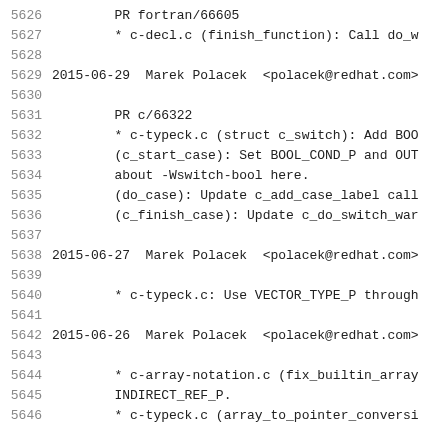5626    PR fortran/66605
5627    * c-decl.c (finish_function): Call do_w
5628
5629  2015-06-29  Marek Polacek  <polacek@redhat.com>
5630
5631    PR c/66322
5632    * c-typeck.c (struct c_switch): Add BOO
5633    (c_start_case): Set BOOL_COND_P and OUT
5634    about -Wswitch-bool here.
5635    (do_case): Update c_add_case_label call
5636    (c_finish_case): Update c_do_switch_war
5637
5638  2015-06-27  Marek Polacek  <polacek@redhat.com>
5639
5640    * c-typeck.c: Use VECTOR_TYPE_P through
5641
5642  2015-06-26  Marek Polacek  <polacek@redhat.com>
5643
5644    * c-array-notation.c (fix_builtin_array
5645    INDIRECT_REF_P.
5646    * c-typeck.c (array_to_pointer_conversi